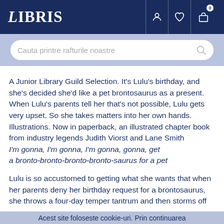LIBRIS
[Figure (screenshot): Search bar with placeholder text 'Cauta printre rafturile noastre' on a light blue background]
A Junior Library Guild Selection. It's Lulu's birthday, and she's decided she'd like a pet brontosaurus as a present. When Lulu's parents tell her that's not possible, Lulu gets very upset. So she takes matters into her own hands. Illustrations. Now in paperback, an illustrated chapter book from industry legends Judith Viorst and Lane Smith
I'm gonna, I'm gonna, I'm gonna, gonna, get a bronto-bronto-bronto-bronto-saurus for a pet
Lulu is so accustomed to getting what she wants that when her parents deny her birthday request for a brontosaurus, she throws a four-day temper tantrum and then storms off into the forest in search of the dinosaur she clearly deserves. Lulu isn't particularly impressed with the snake, tiger, and bear she encounters, but then she finds him, a beautiful
Acest site foloseste cookie-uri. Prin continuarea